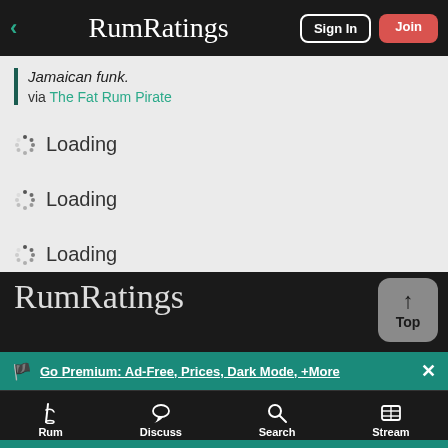RumRatings | Sign In | Join
Jamaican funk.
via The Fat Rum Pirate
Loading
Loading
Loading
RumRatings | Go Premium: Ad-Free, Prices, Dark Mode, +More | Rum | Discuss | Search | Stream